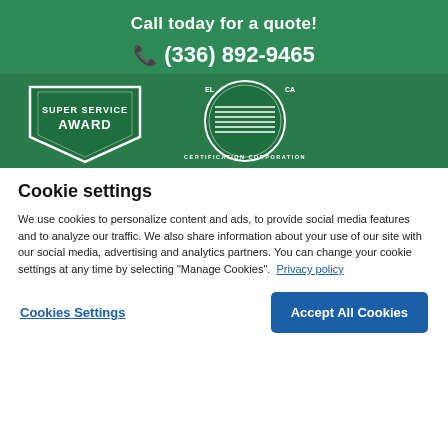Call today for a quote!
📞 (336) 892-9465
[Figure (illustration): Super Service Award badge and Certification Corporation seal on a dark green background]
Cookie settings
We use cookies to personalize content and ads, to provide social media features and to analyze our traffic. We also share information about your use of our site with our social media, advertising and analytics partners. You can change your cookie settings at any time by selecting "Manage Cookies".  Privacy policy
Cookies Settings
Accept All Cookies